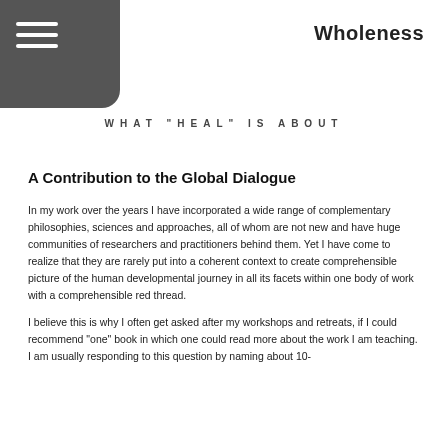Wholeness
WHAT "HEAL" IS ABOUT
A Contribution to the Global Dialogue
In my work over the years I have incorporated a wide range of complementary philosophies, sciences and approaches, all of whom are not new and have huge communities of researchers and practitioners behind them. Yet I have come to realize that they are rarely put into a coherent context to create comprehensible picture of the human developmental journey in all its facets within one body of work with a comprehensible red thread.
I believe this is why I often get asked after my workshops and retreats, if I could recommend "one" book in which one could read more about the work I am teaching. I am usually responding to this question by naming about 10-